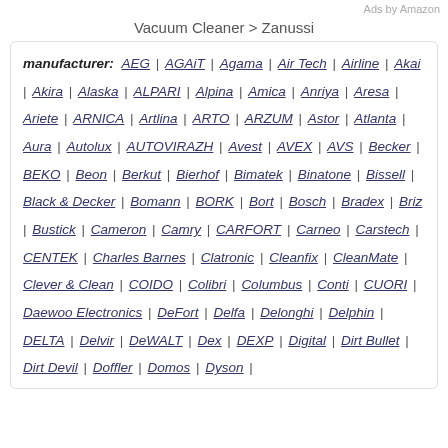Ads by Amazon
Vacuum Cleaner > Zanussi
manufacturer: AEG | AGAiT | Agama | Air Tech | Airline | Akai | Akira | Alaska | ALPARI | Alpina | Amica | Anriya | Aresa | Ariete | ARNICA | Artlina | ARTO | ARZUM | Astor | Atlanta | Aura | Autolux | AUTOVIRAZH | Avest | AVEX | AVS | Becker | BEKO | Beon | Berkut | Bierhof | Bimatek | Binatone | Bissell | Black & Decker | Bomann | BORK | Bort | Bosch | Bradex | Briz | Bustick | Cameron | Camry | CARFORT | Carneo | Carstech | CENTEK | Charles Barnes | Clatronic | Cleanfix | CleanMate | Clever & Clean | COIDO | Colibri | Columbus | Conti | CUORI | Daewoo Electronics | DeFort | Delfa | Delonghi | Delphin | DELTA | Delvir | DeWALT | Dex | DEXP | Digital | Dirt Bullet | Dirt Devil | Doffler | Domos | Dyson |